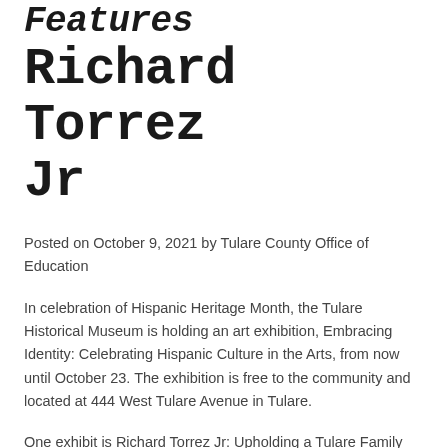Features Richard Torrez Jr
Posted on October 9, 2021 by Tulare County Office of Education
In celebration of Hispanic Heritage Month, the Tulare Historical Museum is holding an art exhibition, Embracing Identity: Celebrating Hispanic Culture in the Arts, from now until October 23. The exhibition is free to the community and located at 444 West Tulare Avenue in Tulare.
One exhibit is Richard Torrez Jr: Upholding a Tulare Family Legacy. Torrez is a super heavyweight boxer who took home the silver medal at the 2020 Summer Olympics this August. The exhibit highlights Torrez's artistic journey.